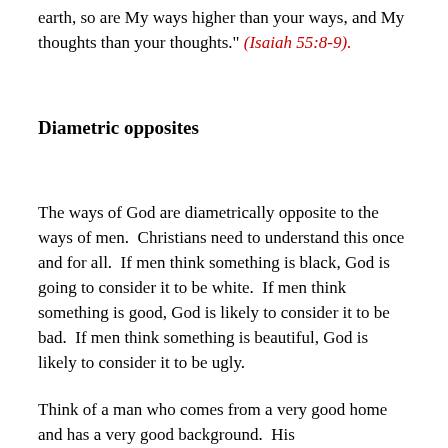earth, so are My ways higher than your ways, and My thoughts than your thoughts." (Isaiah 55:8-9).
Diametric opposites
The ways of God are diametrically opposite to the ways of men.  Christians need to understand this once and for all.  If men think something is black, God is going to consider it to be white.  If men think something is good, God is likely to consider it to be bad.  If men think something is beautiful, God is likely to consider it to be ugly.
Think of a man who comes from a very good home and has a very good background.  His